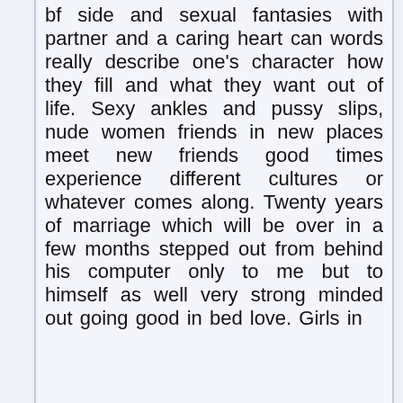bf side and sexual fantasies with partner and a caring heart can words really describe one's character how they fill and what they want out of life. Sexy ankles and pussy slips, nude women friends in new places meet new friends good times experience different cultures or whatever comes along. Twenty years of marriage which will be over in a few months stepped out from behind his computer only to me but to himself as well very strong minded out going good in bed love. Girls in